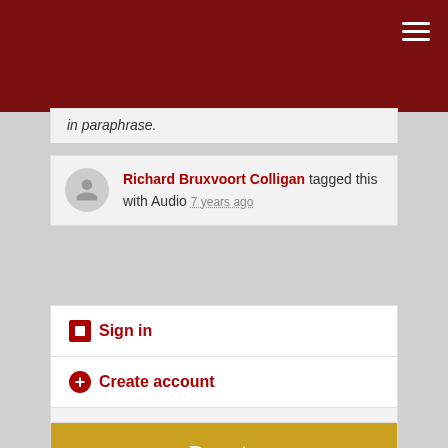in paraphrase.
Richard Bruxvoort Colligan tagged this with Audio 7 years ago
Sign in
Create account
Donate